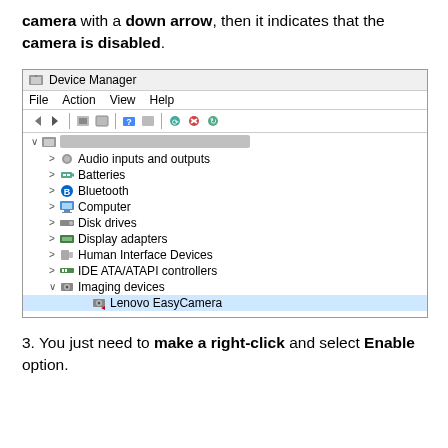camera with a down arrow, then it indicates that the camera is disabled.
[Figure (screenshot): Device Manager window showing tree of device categories. Under 'Imaging devices' the 'Lenovo EasyCamera' entry is highlighted/selected. Visible categories: Audio inputs and outputs, Batteries, Bluetooth, Computer, Disk drives, Display adapters, Human Interface Devices, IDE ATA/ATAPI controllers, Imaging devices (expanded with Lenovo EasyCamera selected).]
3. You just need to make a right-click and select Enable option.